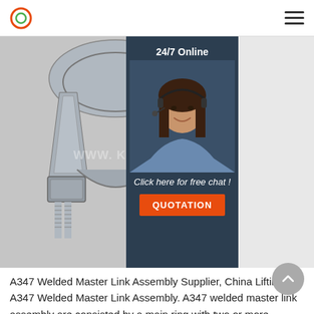Logo and navigation menu
[Figure (photo): Close-up photo of a wire rope clip / cable clamp hardware showing two U-bolt nuts with threaded bolts, galvanized steel construction, with a watermark partially visible. Overlaid with a 24/7 online chat panel showing a female customer service representative and a QUOTATION button.]
A347 Welded Master Link Assembly Supplier, China Lifting A347 Welded Master Link Assembly. A347 welded master link assembly are consisted by a main ring with two or more subrings. It is mainly used for assembly lifting riggings. The